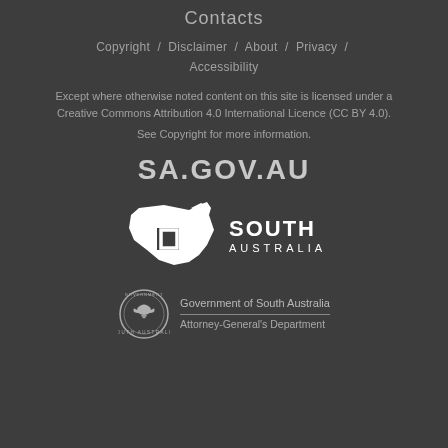Contacts
Copyright / Disclaimer / About / Privacy / Accessibility
Except where otherwise noted content on this site is licensed under a Creative Commons Attribution 4.0 International Licence (CC BY 4.0).
See Copyright for more information.
SA.GOV.AU
[Figure (logo): South Australia government logo — white silhouette of Australia map with a square bracket icon, next to bold text SOUTH AUSTRALIA]
[Figure (logo): Government of South Australia, Attorney-General's Department — circular seal with piping shrike bird, alongside department name text]